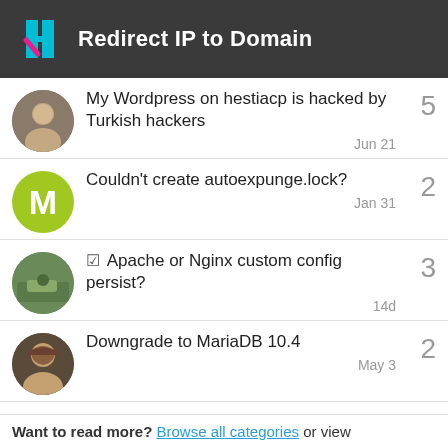Redirect IP to Domain
My Wordpress on hestiacp is hacked by Turkish hackers
Couldn't create autoexpunge.lock?
☑ Apache or Nginx custom config persist?
Downgrade to MariaDB 10.4
Is there any way to create staging site with hestia cp?
Want to read more? Browse all categories or view